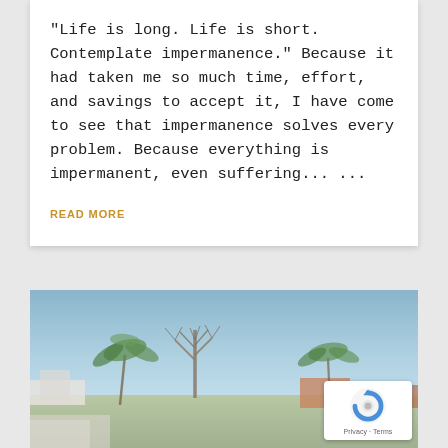"Life is long. Life is short. Contemplate impermanence." Because it had taken me so much time, effort, and savings to accept it, I have come to see that impermanence solves every problem. Because everything is impermanent, even suffering... ...
READ MORE
[Figure (photo): Outdoor photo showing a street scene with trees including a bare tree and palm trees against a blue sky, with buildings visible in the background. A reCAPTCHA badge is overlaid in the bottom-right corner.]